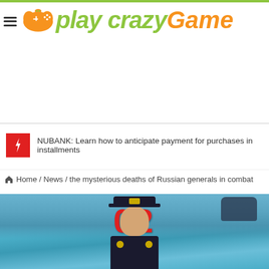[Figure (logo): Play Crazy Game logo with game controller icon and hamburger menu]
NUBANK: Learn how to anticipate payment for purchases in installments
Home / News / the mysterious deaths of Russian generals in combat
[Figure (photo): Russian military officer in uniform cap standing in front of a military jet aircraft with number 02 painted in red on the fuselage]